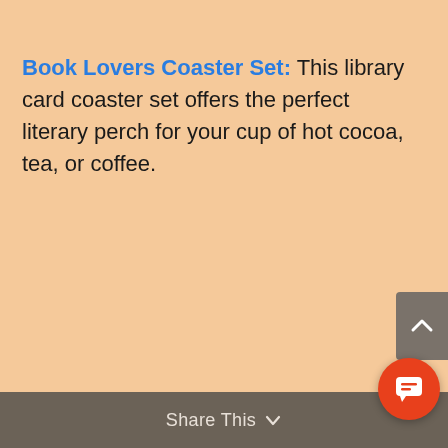Book Lovers Coaster Set: This library card coaster set offers the perfect literary perch for your cup of hot cocoa, tea, or coffee.
Share This